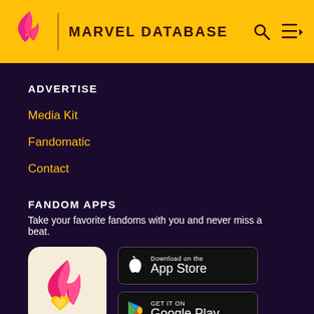MARVEL DATABASE
ADVERTISE
Media Kit
Fandomatic
Contact
FANDOM APPS
Take your favorite fandoms with you and never miss a beat.
[Figure (logo): Fandom app icon: red/pink flame with yellow heart on cream background]
[Figure (screenshot): Download on the App Store button]
[Figure (screenshot): Get it on Google Play button]